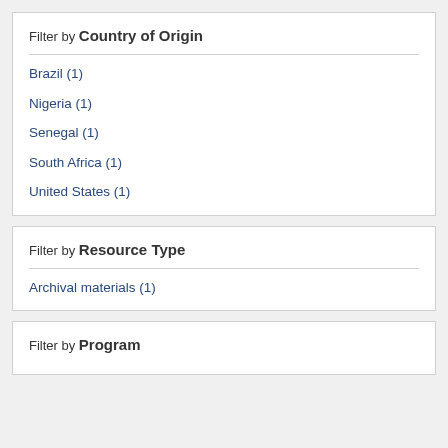Filter by Country of Origin
Brazil (1)
Nigeria (1)
Senegal (1)
South Africa (1)
United States (1)
Filter by Resource Type
Archival materials (1)
Filter by Program